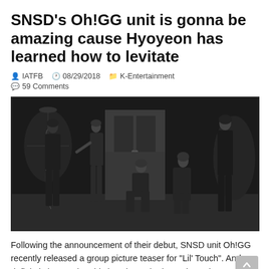SNSD's Oh!GG unit is gonna be amazing cause Hyoyeon has learned how to levitate
IATFB  08/29/2018  K-Entertainment
59 Comments
[Figure (photo): Black and white group photo of SNSD Oh!GG members posing dramatically in dark outfits in an ornate room setting]
Following the announcement of their debut, SNSD unit Oh!GG recently released a group picture teaser for “Lil’ Touch”. And one definitely knows that this is going to be legendary when …